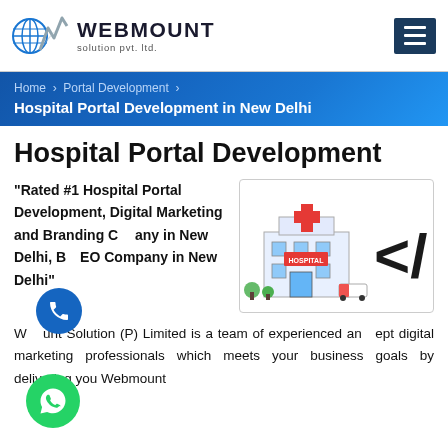[Figure (logo): Webmount Solution Pvt. Ltd. logo with globe and mountain/chart icon]
Home > Portal Development > Hospital Portal Development in New Delhi
Hospital Portal Development
"Rated #1 Hospital Portal Development, Digital Marketing and Branding Company in New Delhi, Best SEO Company in New Delhi"
[Figure (illustration): Illustration of a hospital building and a code/developer symbol]
Webmount Solution (P) Limited is a team of experienced and adept digital marketing professionals which meets your business goals by delivering you Webmount